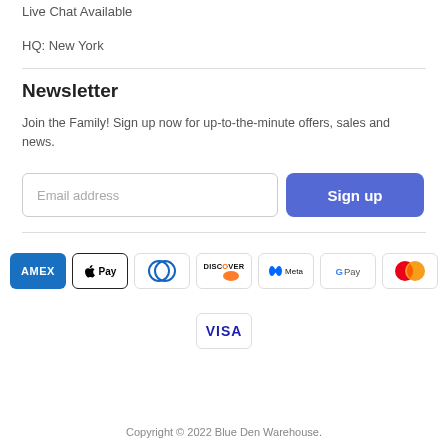Live Chat Available
HQ: New York
Newsletter
Join the Family! Sign up now for up-to-the-minute offers, sales and news.
[Figure (other): Email address input field and Sign up button]
[Figure (other): Payment method logos: AMEX, Apple Pay, Diners Club, Discover, Meta, Google Pay, Mastercard, Visa]
Copyright © 2022 Blue Den Warehouse.